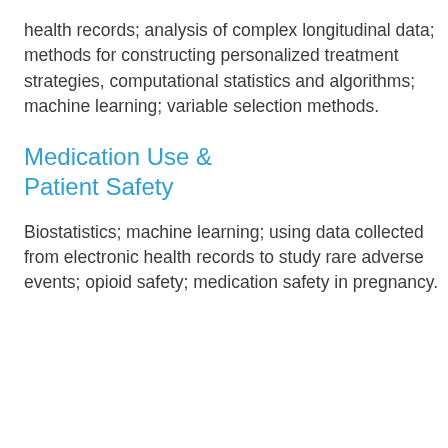health records; analysis of complex longitudinal data; methods for constructing personalized treatment strategies, computational statistics and algorithms; machine learning; variable selection methods.
Medication Use & Patient Safety
Biostatistics; machine learning; using data collected from electronic health records to study rare adverse events; opioid safety; medication safety in pregnancy.